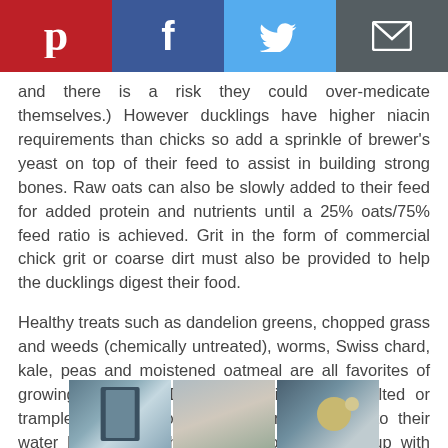[Figure (other): Social sharing bar with Pinterest (red), Facebook (dark blue), Twitter (light blue), and Email (dark gray) buttons]
and there is a risk they could over-medicate themselves.) However ducklings have higher niacin requirements than chicks so add a sprinkle of brewer's yeast on top of their feed to assist in building strong bones. Raw oats can also be slowly added to their feed for added protein and nutrients until a 25% oats/75% feed ratio is achieved. Grit in the form of commercial chick grit or coarse dirt must also be provided to help the ducklings digest their food.
Healthy treats such as dandelion greens, chopped grass and weeds (chemically untreated), worms, Swiss chard, kale, peas and moistened oatmeal are all favorites of growing ducklings. Ducks don't like to eat wilted or trampled greens, so I toss the treats right into their water bowl where they enjoy scooping them up with their bills.
[Figure (photo): Partial image strip showing what appears to be kitchen cabinets and pendant lights]